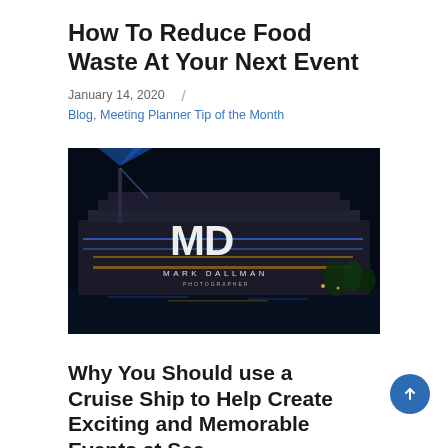How To Reduce Food Waste At Your Next Event
January 14, 2020  /
Blog, Meeting Planner Tip of the Month
[Figure (photo): A cruise ship lit up at night with blue lights and a waterfront reflection. The Mark Dallman logo (MD) is overlaid in white in the center of the image.]
Why You Should use a Cruise Ship to Help Create Exciting and Memorable Events at Sea